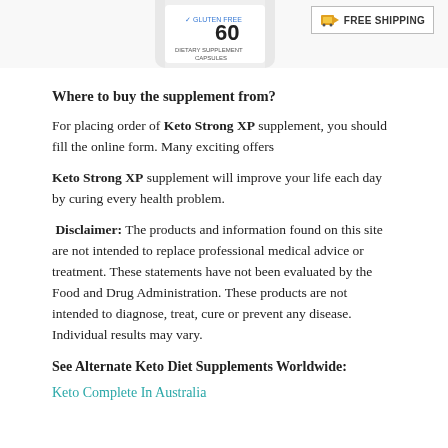[Figure (photo): Partial view of a supplement bottle showing '60' capsules and 'DIETARY SUPPLEMENT' label, partially cropped at top]
[Figure (infographic): Free Shipping badge with package icon and text 'FREE SHIPPING' in a bordered box]
Where to buy the supplement from?
For placing order of Keto Strong XP supplement, you should fill the online form. Many exciting offers
Keto Strong XP supplement will improve your life each day by curing every health problem.
Disclaimer: The products and information found on this site are not intended to replace professional medical advice or treatment. These statements have not been evaluated by the Food and Drug Administration. These products are not intended to diagnose, treat, cure or prevent any disease. Individual results may vary.
See Alternate Keto Diet Supplements Worldwide:
Keto Complete In Australia